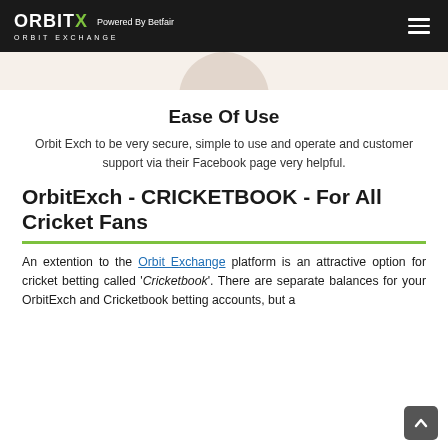ORBITX Powered By Betfair ORBIT EXCHANGE
[Figure (illustration): Partial beige/tan circle visible at top of content area, suggesting a profile or decorative image.]
Ease Of Use
Orbit Exch to be very secure, simple to use and operate and customer support via their Facebook page very helpful.
OrbitExch - CRICKETBOOK - For All Cricket Fans
An extention to the Orbit Exchange platform is an attractive option for cricket betting called 'Cricketbook'. There are separate balances for your OrbitExch and Cricketbook betting accounts, but a